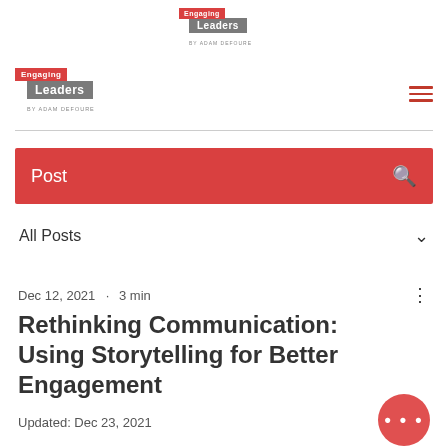[Figure (logo): Engaging Leaders logo centered at top - red 'Engaging' block overlapping gray 'Leaders' block with byline]
[Figure (logo): Engaging Leaders navigation logo on left with hamburger menu icon on right]
Post
All Posts
Dec 12, 2021  ·  3 min
Rethinking Communication: Using Storytelling for Better Engagement
Updated: Dec 23, 2021